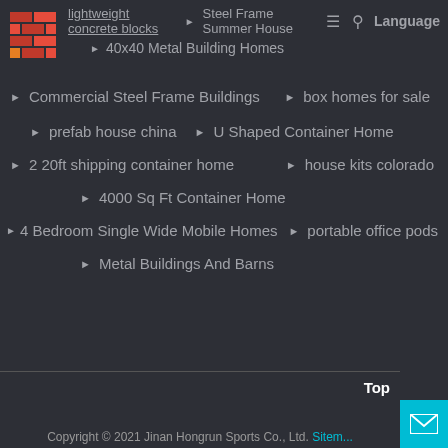lightweight concrete blocks | Steel Frame Summer House | 40x40 Metal Building Homes
Commercial Steel Frame Buildings
box homes for sale
prefab house china
U Shaped Container Home
2 20ft shipping container home
house kits colorado
4000 Sq Ft Container Home
4 Bedroom Single Wide Mobile Homes
portable office pods
Metal Buildings And Barns
Copyright © 2021 Jinan Hongrun Sports Co., Ltd. Sitem...